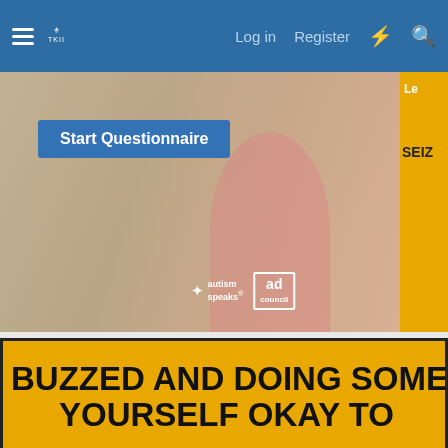Log in  Register
[Figure (screenshot): Autism Speaks ad banner with 'Start Questionnaire' blue button, autism speaks and ad council logos on photo background]
[Figure (screenshot): Partial yellow/orange ad on right side showing 'Le' and 'SEIZ' text]
[Figure (screenshot): Gold banner ad with bold black text: BUZZED AND DOING SOMET... YOURSELF OKAY TO...]
REGISTER TO REMOVE
Not open for further replies.
Zero
Sergeant RoxMog